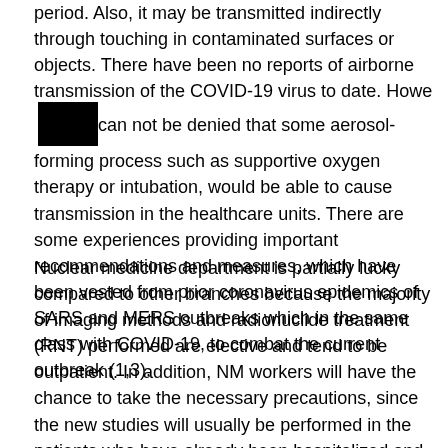period. Also, it may be transmitted indirectly through touching in contaminated surfaces or objects. There have been no reports of airborne transmission of the COVID-19 virus to date. However, it can not be denied that some aerosol-forming process such as supportive oxygen therapy or intubation, would be able to cause transmission in the healthcare units. There are some experiences providing important recommendations and measures, which have been vested from prior coronavirus epidemics of SARS and MERS outbreaks which in the same class with COVID-19, to combat the current outbreak (1,3).
Nuclear medicine department is partially lucky compared to other branches because the majority of imaging methods and radionuclide treatment (RNT) performed are elective and tend to be outpatient. In addition, NM workers will have the chance to take the necessary precautions, since the new studies will usually be performed in the patients who have already been hospitalized and secreened for COVID-19. Nevertheless, the absence of portable single photon emission computerized tomography (SPECT) or